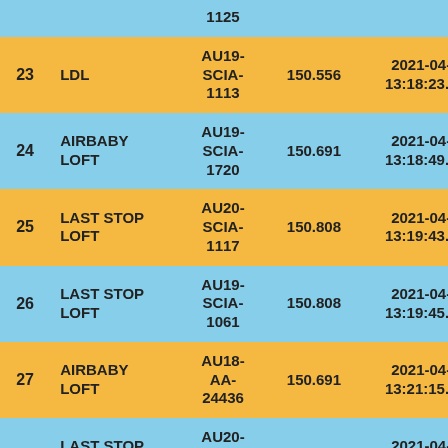| # | Name | Code | Value | Timestamp | Extra |
| --- | --- | --- | --- | --- | --- |
| 23 | LDL | AU19-SCIA-1113 | 150.556 | 2021-04-17 13:18:23.502 | 102 |
| 24 | AIRBABY LOFT | AU19-SCIA-1720 | 150.691 | 2021-04-17 13:18:49.005 | 102 |
| 25 | LAST STOP LOFT | AU20-SCIA-1117 | 150.808 | 2021-04-17 13:19:43.504 | 102 |
| 26 | LAST STOP LOFT | AU19-SCIA-1061 | 150.808 | 2021-04-17 13:19:45.361 | 102 |
| 27 | AIRBABY LOFT | AU18-AA-24436 | 150.691 | 2021-04-17 13:21:15.343 | 101 |
| 28 | LAST STOP LOFT | AU20-SCIA-1631 | 150.808 | 2021-04-17 13:23:47.864 | 100 |
|  |  | AU20- |  | 2021-04-17 |  |